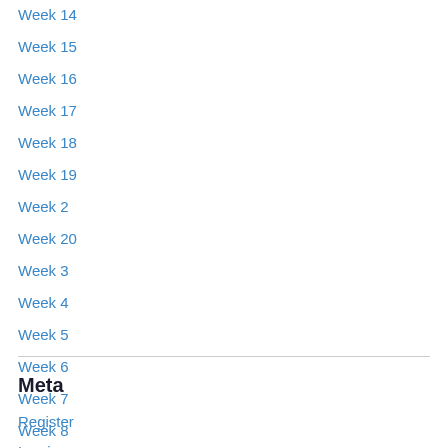Week 14
Week 15
Week 16
Week 17
Week 18
Week 19
Week 2
Week 20
Week 3
Week 4
Week 5
Week 6
Week 7
Week 8
Week 9
Meta
Register
Log in